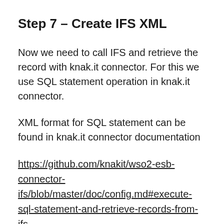Step 7 – Create IFS XML
Now we need to call IFS and retrieve the record with knak.it connector. For this we use SQL statement operation in knak.it connector.
XML format for SQL statement can be found in knak.it connector documentation
https://github.com/knakit/wso2-esb-connector-ifs/blob/master/doc/config.md#execute-sql-statement-and-retrieve-records-from-ifs
Drag and drop PayloadFactory mediator item from pallet and configure as below